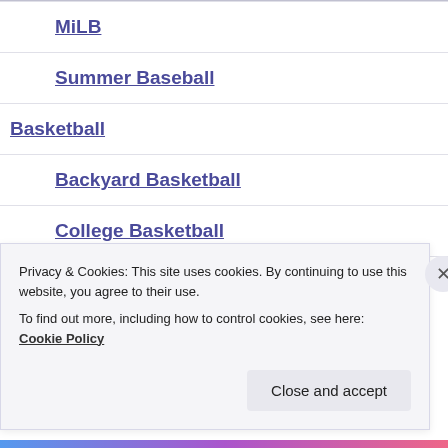MiLB
Summer Baseball
Basketball
Backyard Basketball
College Basketball
High School Basketball
Privacy & Cookies: This site uses cookies. By continuing to use this website, you agree to their use.
To find out more, including how to control cookies, see here: Cookie Policy
Close and accept